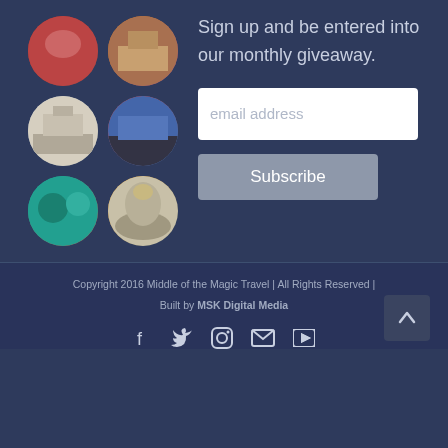[Figure (photo): Grid of 6 circular travel photos showing people at various destinations]
Sign up and be entered into our monthly giveaway.
[Figure (other): Email address input field with placeholder text 'email address']
[Figure (other): Subscribe button]
Copyright 2016 Middle of the Magic Travel | All Rights Reserved | Built by MSK Digital Media
[Figure (infographic): Social media icons: Facebook, Twitter, Instagram, Email, YouTube. Back to top arrow button.]